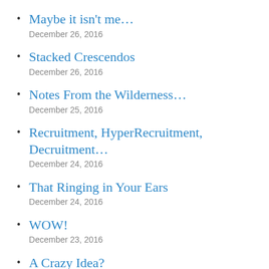Maybe it isn't me…
December 26, 2016
Stacked Crescendos
December 26, 2016
Notes From the Wilderness…
December 25, 2016
Recruitment, HyperRecruitment, Decruitment…
December 24, 2016
That Ringing in Your Ears
December 24, 2016
WOW!
December 23, 2016
A Crazy Idea?
December 23, 2016
Dealing With Serious Hearing Impairment